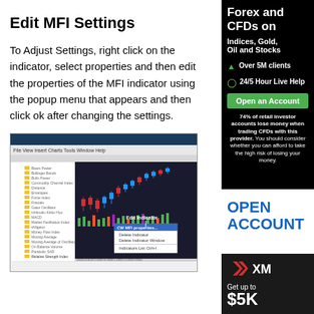[Figure (other): Dark advertisement banner for Forex and CFDs trading on Indices, Gold, Oil and Stocks with Over 5M clients and 24/5 Hour Live Help features, Open an Account button, and risk disclaimer text.]
[Figure (other): OPEN ACCOUNT text in bold blue letters as advertisement link.]
[Figure (other): XM broker advertisement showing Get up to $5K offer on dark background with XM logo.]
Edit MFI Settings
To Adjust Settings, right click on the indicator, select properties and then edit the properties of the MFI indicator using the popup menu that appears and then click ok after changing the settings.
[Figure (screenshot): Screenshot of a trading platform (likely MetaTrader) showing a candlestick chart with a right-click context menu open displaying options including 'CW MFI properties', 'Delete Indicator', 'Delete Indicator Window', and 'Indicators List Ctrl+I'. A label 'Edit Indicator' points to the menu with an arrow.]